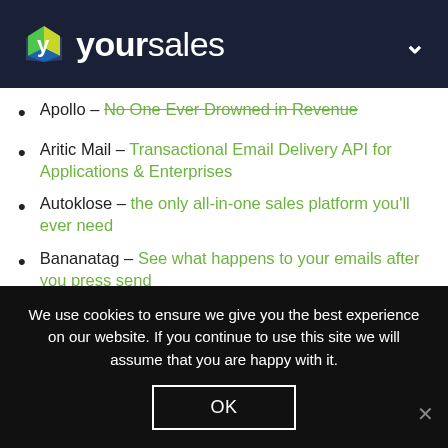yoursales
Apollo - No One Ever Drowned in Revenue
Aritic Mail - Transactional Email Delivery API for Applications & Enterprises
Autoklose - the only all-in-one sales platform you'll ever need
Bananatag - See what happens to your emails after you press send
BombBomb - rehumanize your communication with simple videos
Bonjoro - Boost customer engagement with
We use cookies to ensure we give you the best experience on our website. If you continue to use this site we will assume that you are happy with it.
OK